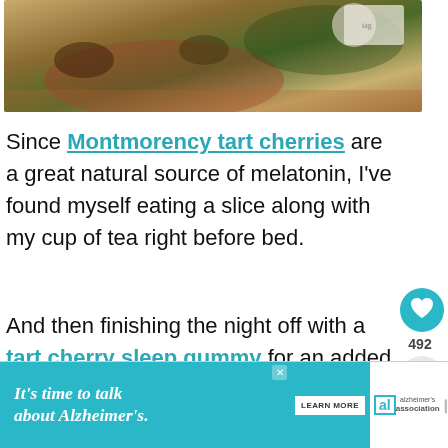[Figure (photo): Top portion of a photo showing food items including what appears to be bread or pastry with seeds/berries on a surface]
Since Montmorency tart cherries are a great natural source of melatonin, I've found myself eating a slice along with my cup of tea right before bed.
And then finishing the night off with a tart cherry sleep gummy for an added sleep boost!
[Figure (infographic): Social sharing sidebar with heart/like button showing 492 count and share button]
[Figure (infographic): What's Next promotional box showing Tart Cherry Chocolate... with thumbnail image]
[Figure (infographic): Advertisement banner: It's time to talk about Alzheimer's. with Learn More button and Alzheimer's Association logo]